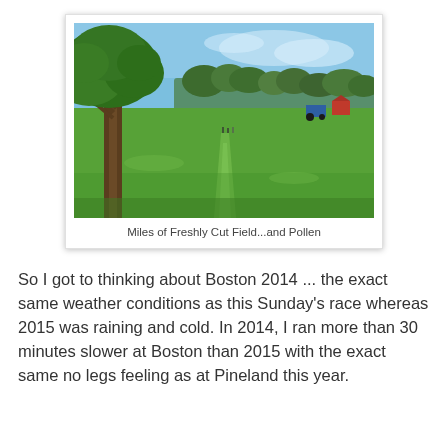[Figure (photo): Outdoor photo of a freshly cut green field stretching into the distance, with large trees on the left side, a blue sky with light clouds, and farm equipment/structures visible in the background.]
Miles of Freshly Cut Field...and Pollen
So I got to thinking about Boston 2014 ... the exact same weather conditions as this Sunday's race whereas 2015 was raining and cold. In 2014, I ran more than 30 minutes slower at Boston than 2015 with the exact same no legs feeling as at Pineland this year.